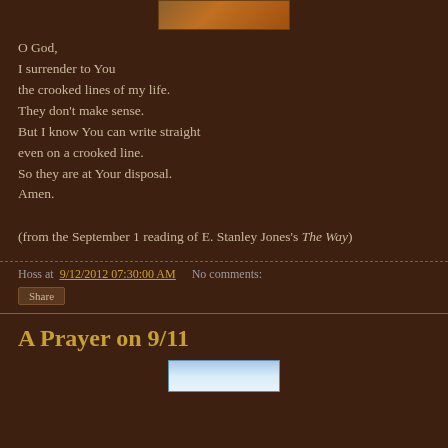[Figure (photo): Partial top of an image, appears to show autumn foliage or nature scene in orange/brown tones]
O God,
I surrender to You
the crooked lines of my life.
They don't make sense.
But I know You can write straight
even on a crooked line.
So they are at Your disposal.
Amen.
(from the September 1 reading of E. Stanley Jones's The Way)
Hoss at 9/12/2012 07:30:00 AM   No comments:
Share
A Prayer on 9/11
[Figure (photo): Partial bottom image showing blue sky and clouds]